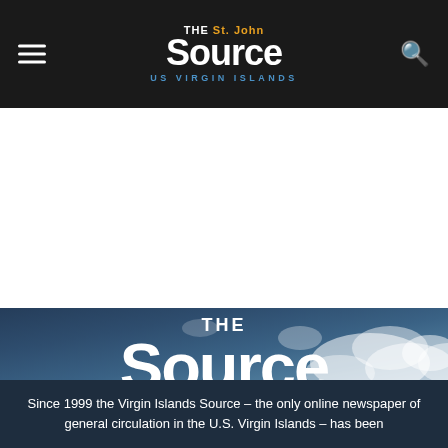The St. John Source - US Virgin Islands
[Figure (illustration): White advertisement space below navigation bar]
[Figure (photo): The Source US Virgin Islands logo overlaid on a blue sky with clouds background]
Since 1999 the Virgin Islands Source – the only online newspaper of general circulation in the U.S. Virgin Islands – has been